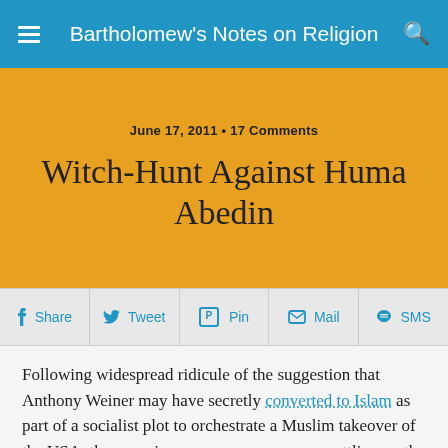Bartholomew's Notes on Religion
June 17, 2011 • 17 Comments
Witch-Hunt Against Huma Abedin
Share  Tweet  Pin  Mail  SMS
Following widespread ridicule of the suggestion that Anthony Weiner may have secretly converted to Islam as part of a socialist plot to orchestrate a Muslim takeover of the USA, the conspiracy-mongerers are now settling on the idea that Weiner's wife Huma Abedin – who works as an aide to Hilary Clinton – may be a spy for the Muslim Brotherhood. The inspiration